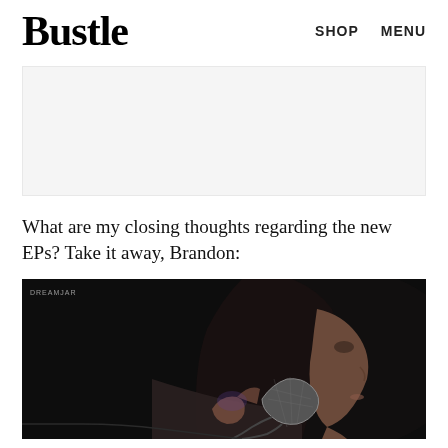Bustle  SHOP  MENU
[Figure (other): Advertisement placeholder — light gray rectangle]
What are my closing thoughts regarding the new EPs? Take it away, Brandon:
[Figure (photo): Dark photo of a performer (Brandon) with long dark hair singing into a microphone, dark background, watermark 'DREAMJAR' in top left]